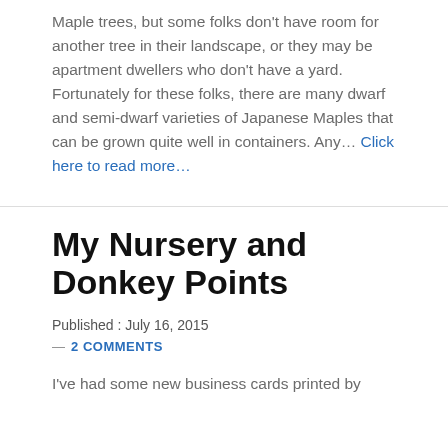Maple trees, but some folks don't have room for another tree in their landscape, or they may be apartment dwellers who don't have a yard. Fortunately for these folks, there are many dwarf and semi-dwarf varieties of Japanese Maples that can be grown quite well in containers. Any… Click here to read more…
My Nursery and Donkey Points
Published : July 16, 2015
— 2 COMMENTS
I've had some new business cards printed by